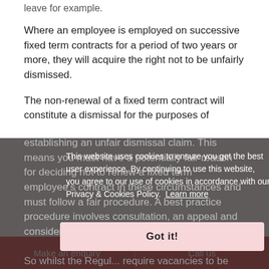leave for example.
Where an employee is employed on successive fixed term contracts for a period of two years or more, they will acquire the right not to be unfairly dismissed.
The non-renewal of a fixed term contract will constitute a dismissal for the purposes of establishing an unfair dismissal claim. This means you must have a potentially fair reason for deciding not to renew a fixed term employee's contract in these circumstances and must follow a fair procedure. A best practice procedure involves consultation, an appeal and consideration of alternative employment.
So whilst the Regul... require vacancies to be...
This website uses cookies to ensure you get the best user experience. By continuing to use this website, you agree to our use of cookies in accordance with our Privacy & Cookies Policy.  Learn more
Got it!
Make an enquiry   Call us